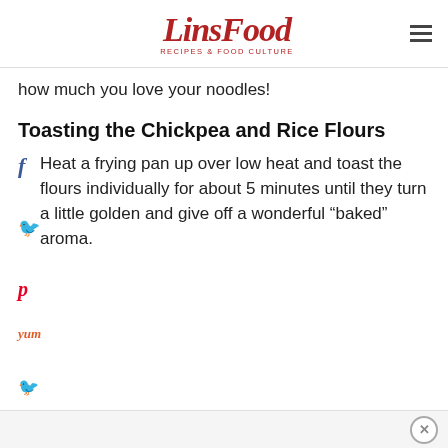LinsFood RECIPES & FOOD CULTURE
how much you love your noodles!
Toasting the Chickpea and Rice Flours
Heat a frying pan up over low heat and toast the flours individually for about 5 minutes until they turn a little golden and give off a wonderful “baked” aroma.
[Figure (logo): Social media icons: Facebook, Twitter, Pinterest, Yummly]
Ad close button